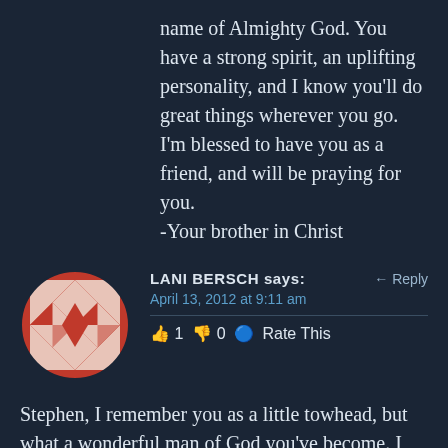name of Almighty God. You have a strong spirit, an uplifting personality, and I know you'll do great things wherever you go. I'm blessed to have you as a friend, and will be praying for you.
-Your brother in Christ
[Figure (illustration): Avatar image: red and white geometric diamond/quilt pattern circle for user Lani Bersch]
LANI BERSCH says:
April 13, 2012 at 9:11 am
👍 1 👎 0 🔵 Rate This
Stephen, I remember you as a little towhead, but what a wonderful man of God you've become. I share your